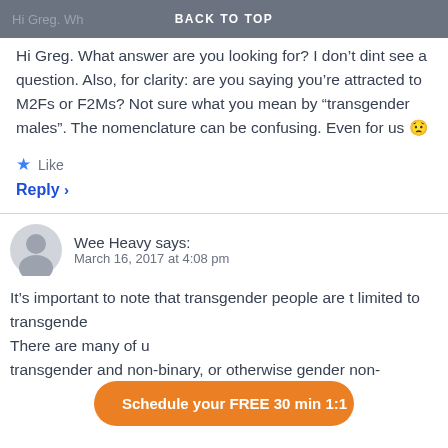BACK TO TOP
Hi Greg. What answer are you looking for? I don't dint see a question. Also, for clarity: are you saying you're attracted to M2Fs or F2Ms? Not sure what you mean by “transgender males”. The nomenclature can be confusing. Even for us 😕
Like
Reply >
Wee Heavy says:
March 16, 2017 at 4:08 pm
It’s important to note that transgender people are t limited to transgender... There are many of u... transgender and non-binary, or otherwise gender non-
Schedule your FREE 30 min 1:1